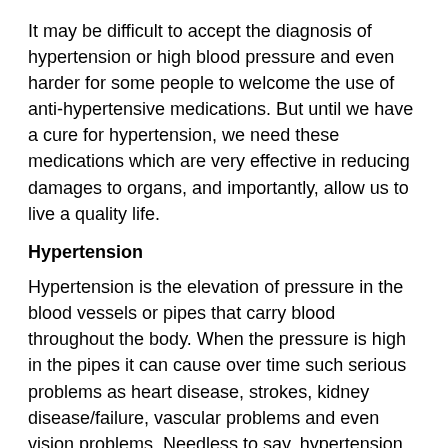It may be difficult to accept the diagnosis of hypertension or high blood pressure and even harder for some people to welcome the use of anti-hypertensive medications. But until we have a cure for hypertension, we need these medications which are very effective in reducing damages to organs, and importantly, allow us to live a quality life.
Hypertension
Hypertension is the elevation of pressure in the blood vessels or pipes that carry blood throughout the body. When the pressure is high in the pipes it can cause over time such serious problems as heart disease, strokes, kidney disease/failure, vascular problems and even vision problems. Needless to say, hypertension is a concerning medical condition that needs to be addressed and controlled. About 1 out 3 people in the United States have hypertension.
Healthy diet